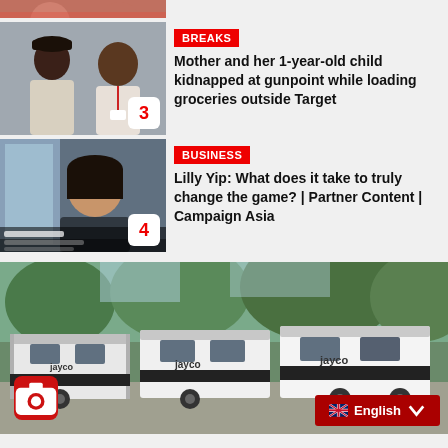[Figure (photo): Partial crop of a photo at top of page (faces, red background)]
[Figure (photo): Two men photographed, one wearing a hat, news thumbnail with badge number 3]
BREAKS
Mother and her 1-year-old child kidnapped at gunpoint while loading groceries outside Target
[Figure (photo): Woman interviewed on video call, news thumbnail with badge number 4]
BUSINESS
Lilly Yip: What does it take to truly change the game? | Partner Content | Campaign Asia
[Figure (photo): Row of Jayco brand travel trailers/campers parked outdoors with trees in background]
English